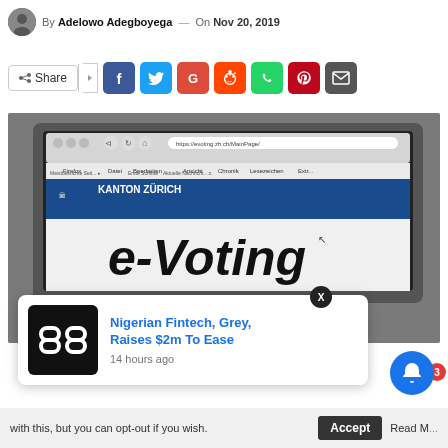By Adelowo Adegboyega — On Nov 20, 2019
[Figure (infographic): Social media share bar with Share button and icons for Facebook, Twitter, Google+, Reddit, WhatsApp, Pinterest, and Email]
[Figure (photo): Laptop screen showing Firefox browser open to https://evoting.zh.ch/MainPage/ — Kanton Zürich e-Voting website]
[Figure (infographic): Popup advertisement overlay: Nigerian Fintech, Grey, Raises $2m To Ease — 14 hours ago, with black logo]
with this, but you can opt-out if you wish.
Accept
Read M...